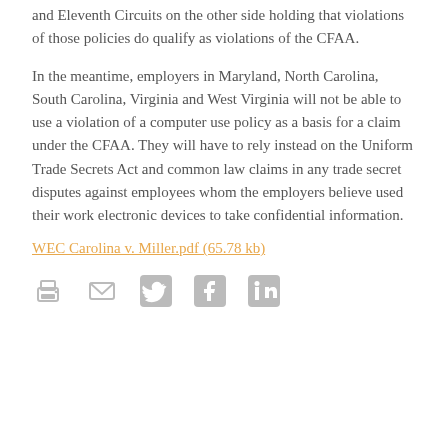and Eleventh Circuits on the other side holding that violations of those policies do qualify as violations of the CFAA.
In the meantime, employers in Maryland, North Carolina, South Carolina, Virginia and West Virginia will not be able to use a violation of a computer use policy as a basis for a claim under the CFAA. They will have to rely instead on the Uniform Trade Secrets Act and common law claims in any trade secret disputes against employees whom the employers believe used their work electronic devices to take confidential information.
WEC Carolina v. Miller.pdf (65.78 kb)
[Figure (other): Social sharing icons: print, email, Twitter, Facebook, LinkedIn]